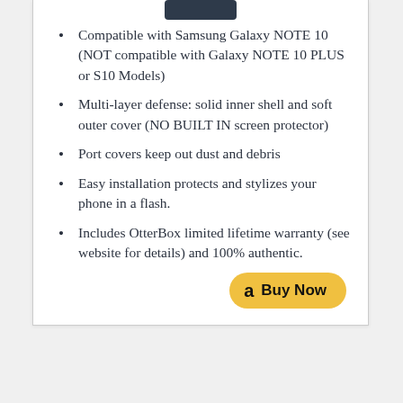[Figure (photo): Small dark phone image at the top of the card]
Compatible with Samsung Galaxy NOTE 10 (NOT compatible with Galaxy NOTE 10 PLUS or S10 Models)
Multi-layer defense: solid inner shell and soft outer cover (NO BUILT IN screen protector)
Port covers keep out dust and debris
Easy installation protects and stylizes your phone in a flash.
Includes OtterBox limited lifetime warranty (see website for details) and 100% authentic.
[Figure (other): Amazon Buy Now button]